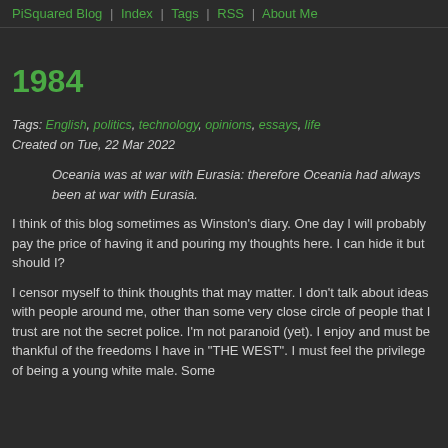PiSquared Blog | Index | Tags | RSS | About Me
1984
Tags: English, politics, technology, opinions, essays, life
Created on Tue, 22 Mar 2022
Oceania was at war with Eurasia: therefore Oceania had always been at war with Eurasia.
I think of this blog sometimes as Winston's diary. One day I will probably pay the price of having it and pouring my thoughts here. I can hide it but should I?
I censor myself to think thoughts that may matter. I don't talk about ideas with people around me, other than some very close circle of people that I trust are not the secret police. I'm not paranoid (yet). I enjoy and must be thankful of the freedoms I have in "THE WEST". I must feel the privilege of being a young white male. Some